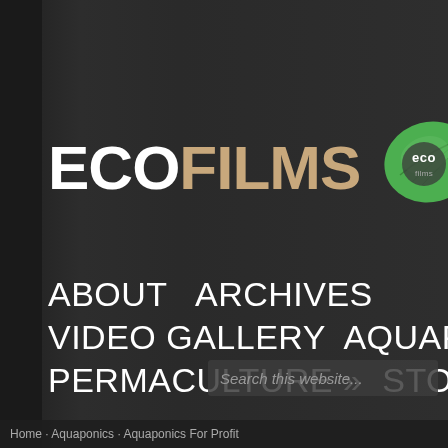[Figure (logo): ECOFILMS logo with white ECO text, tan FILMS text, and a green leaf badge with 'eco films' text]
ABOUT   ARCHIVES
VIDEO GALLERY   AQUAPONICS »
PERMACULTURE »   STORE »
Search this website...
Home · Aquaponics · Aquaponics For Profit